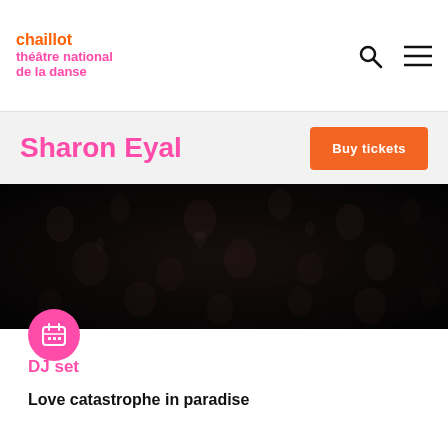chaillot théâtre national de la danse
Sharon Eyal
Buy tickets
[Figure (photo): Dark overhead photo of a crowd of people at an event or performance, dimly lit with figures scattered across the frame.]
DJ set
Love catastrophe in paradise